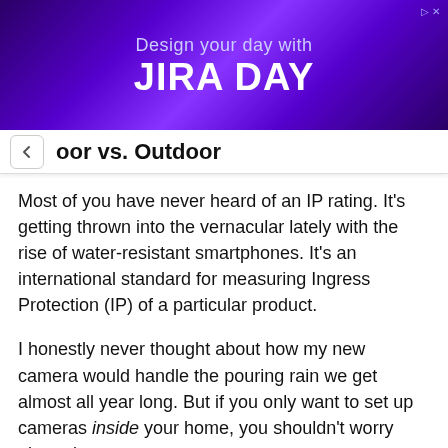[Figure (screenshot): Advertisement banner for JIRA DAY with purple radial burst background. Text reads 'Design your day with' and 'JIRA DAY' in bold white letters. Small ad indicator in top right corner.]
oor vs. Outdoor
Most of you have never heard of an IP rating. It's getting thrown into the vernacular lately with the rise of water-resistant smartphones. It's an international standard for measuring Ingress Protection (IP) of a particular product.
I honestly never thought about how my new camera would handle the pouring rain we get almost all year long. But if you only want to set up cameras inside your home, you shouldn't worry about that.